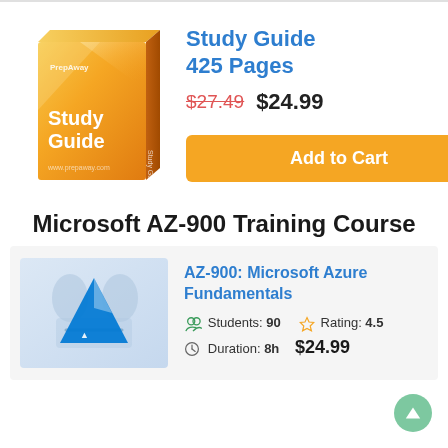[Figure (photo): Orange Study Guide book product box with 'PrepAway' branding and 'Study Guide' text on cover]
Study Guide
425 Pages
$27.49  $24.99
Add to Cart
Microsoft AZ-900 Training Course
[Figure (photo): AZ-900 Microsoft Azure Fundamentals course thumbnail with blue Azure logo triangle on light background]
AZ-900: Microsoft Azure Fundamentals
Students: 90   Rating: 4.5   Duration: 8h   $24.99